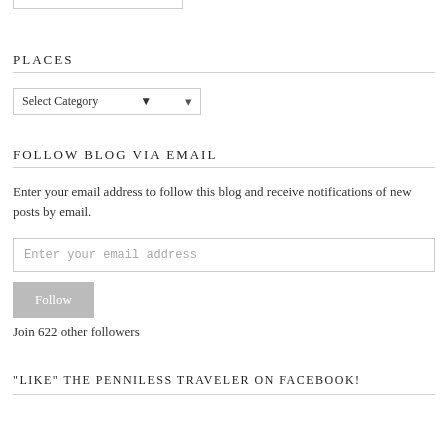PLACES
[Figure (other): Dropdown select box labeled 'Select Category']
FOLLOW BLOG VIA EMAIL
Enter your email address to follow this blog and receive notifications of new posts by email.
[Figure (other): Email input field with placeholder 'Enter your email address' and a Follow button below]
Join 622 other followers
“LIKE” THE PENNILESS TRAVELER ON FACEBOOK!